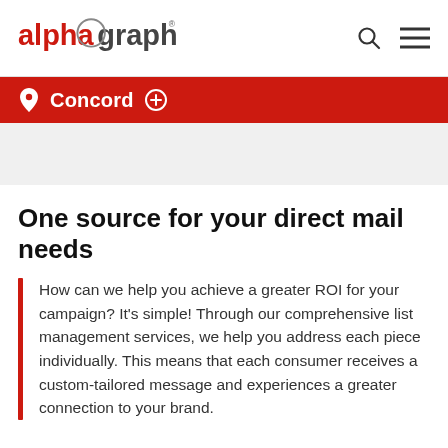alphagraphics
Concord
One source for your direct mail needs
How can we help you achieve a greater ROI for your campaign? It's simple! Through our comprehensive list management services, we help you address each piece individually. This means that each consumer receives a custom-tailored message and experiences a greater connection to your brand.